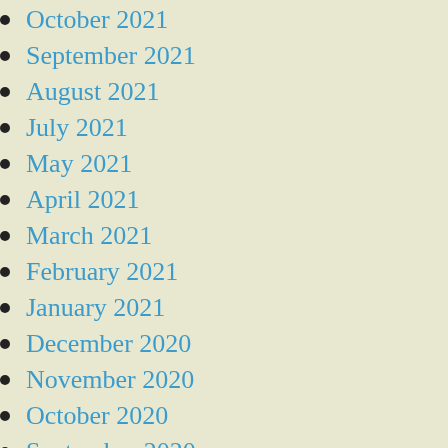October 2021
September 2021
August 2021
July 2021
May 2021
April 2021
March 2021
February 2021
January 2021
December 2020
November 2020
October 2020
September 2020
August 2020
July 2020
June 2020
May 2020